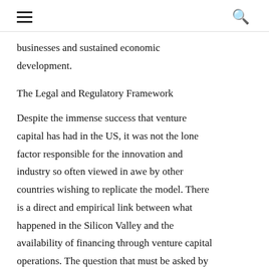≡  🔍
businesses and sustained economic development.
The Legal and Regulatory Framework
Despite the immense success that venture capital has had in the US, it was not the lone factor responsible for the innovation and industry so often viewed in awe by other countries wishing to replicate the model. There is a direct and empirical link between what happened in the Silicon Valley and the availability of financing through venture capital operations. The question that must be asked by all interested in development is whether the